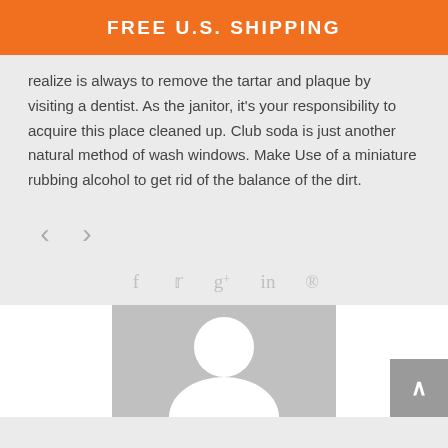FREE U.S. SHIPPING
realize is always to remove the tartar and plaque by visiting a dentist. As the janitor, it's your responsibility to acquire this place cleaned up. Club soda is just another natural method of wash windows. Make Use of a miniature rubbing alcohol to get rid of the balance of the dirt.
[Figure (other): Navigation arrows (left chevron and right chevron) for pagination]
[Figure (other): Social media share icons: Facebook, Twitter, Google+, LinkedIn, Pinterest]
[Figure (other): Author avatar placeholder image with gray background and white silhouette, flanked by white panels. Back-to-top button in bottom right corner.]